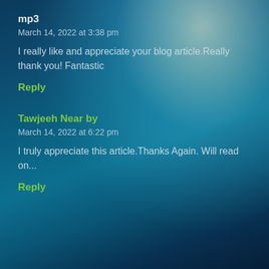mp3
March 14, 2022 at 3:38 pm
I really like and appreciate your blog article.Really thank you! Fantastic
Reply
Tawjeeh Near by
March 14, 2022 at 6:22 pm
I truly appreciate this article.Thanks Again. Will read on...
Reply